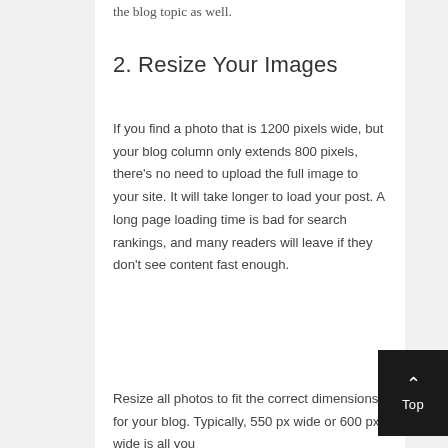the blog topic as well.
2. Resize Your Images
If you find a photo that is 1200 pixels wide, but your blog column only extends 800 pixels, there’s no need to upload the full image to your site. It will take longer to load your post. A long page loading time is bad for search rankings, and many readers will leave if they don’t see content fast enough.
Resize all photos to fit the correct dimensions for your blog. Typically, 550 px wide or 600 px wide is all you